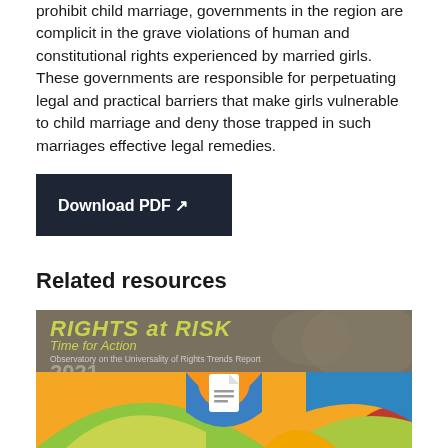prohibit child marriage, governments in the region are complicit in the grave violations of human and constitutional rights experienced by married girls. These governments are responsible for perpetuating legal and practical barriers that make girls vulnerable to child marriage and deny those trapped in such marriages effective legal remedies.
[Figure (other): Dark navy button with white bold text reading 'Download PDF' followed by a right-arrow icon]
Related resources
[Figure (illustration): Book/report cover image for 'RIGHTS at RISK: Time for Action — Observatory on the Universality of Rights Trends Report 2021'. Top band is olive/taupe brown with yellow-green title text and a world map silhouette. Bottom section features colorful abstract curved shapes in orange, green, blue, red with a white document icon in the center.]